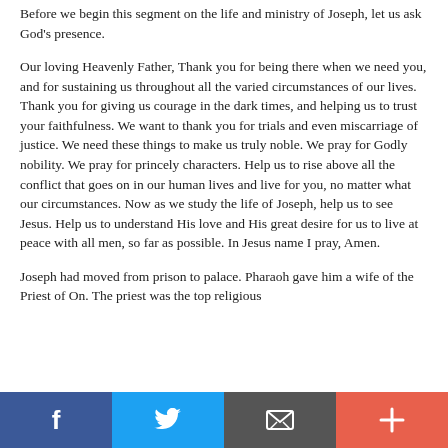Before we begin this segment on the life and ministry of Joseph, let us ask God's presence.
Our loving Heavenly Father, Thank you for being there when we need you, and for sustaining us throughout all the varied circumstances of our lives. Thank you for giving us courage in the dark times, and helping us to trust your faithfulness. We want to thank you for trials and even miscarriage of justice. We need these things to make us truly noble. We pray for Godly nobility. We pray for princely characters. Help us to rise above all the conflict that goes on in our human lives and live for you, no matter what our circumstances. Now as we study the life of Joseph, help us to see Jesus. Help us to understand His love and His great desire for us to live at peace with all men, so far as possible. In Jesus name I pray, Amen.
Joseph had moved from prison to palace. Pharaoh gave him a wife of the Priest of On. The priest was the top religious…